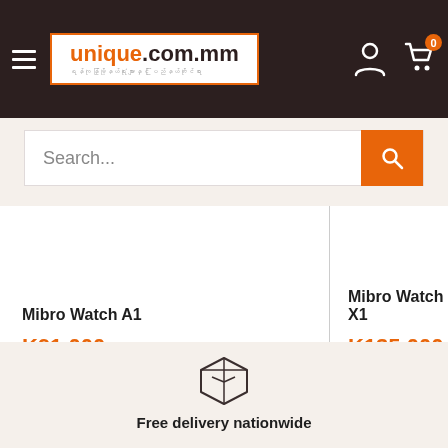unique.com.mm
Search...
Mibro Watch A1
K91,000
In stock
Mibro Watch X1
K135,000
In stock
Free delivery nationwide